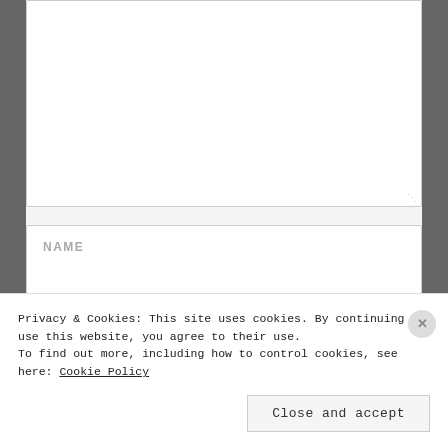[Figure (screenshot): Web form textarea field (empty, with resize handle at bottom right)]
NAME
EMAIL
WEBSITE
Privacy & Cookies: This site uses cookies. By continuing to use this website, you agree to their use.
To find out more, including how to control cookies, see here: Cookie Policy
Close and accept